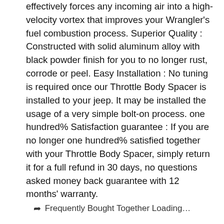effectively forces any incoming air into a high-velocity vortex that improves your Wrangler's fuel combustion process. Superior Quality : Constructed with solid aluminum alloy with black powder finish for you to no longer rust, corrode or peel. Easy Installation : No tuning is required once our Throttle Body Spacer is installed to your jeep. It may be installed the usage of a very simple bolt-on process. one hundred% Satisfaction guarantee : If you are no longer one hundred% satisfied together with your Throttle Body Spacer, simply return it for a full refund in 30 days, no questions asked money back guarantee with 12 months' warranty.
Frequently Bought Together Loading...